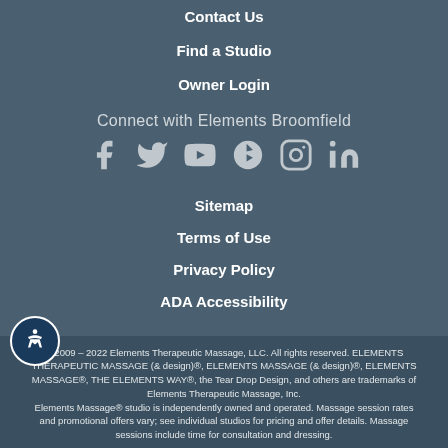Contact Us
Find a Studio
Owner Login
Connect with Elements Broomfield
[Figure (infographic): Social media icons: Facebook, Twitter, YouTube, Yelp, Instagram, LinkedIn]
Sitemap
Terms of Use
Privacy Policy
ADA Accessibility
© 2009 – 2022 Elements Therapeutic Massage, LLC. All rights reserved. ELEMENTS THERAPEUTIC MASSAGE (& design)®, ELEMENTS MASSAGE (& design)®, ELEMENTS MASSAGE®, THE ELEMENTS WAY®, the Tear Drop Design, and others are trademarks of Elements Therapeutic Massage, Inc.
Elements Massage® studio is independently owned and operated. Massage session rates and promotional offers vary; see individual studios for pricing and offer details. Massage sessions include time for consultation and dressing.